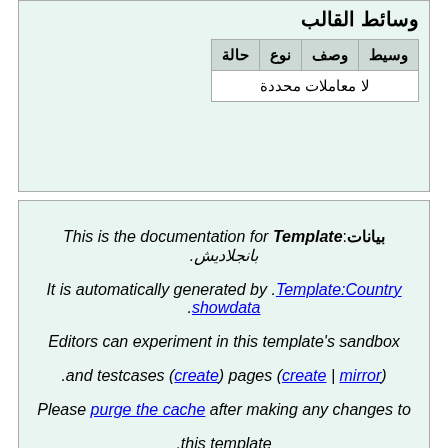وسائط القالب
| وسيط | وصف | نوع | حالة |
| --- | --- | --- | --- |
| لا معاملات محددة |  |  |  |
بيانات:This is the documentation for Template بانجلاديش. It is automatically generated by Template:Country showdata. Editors can experiment in this template's sandbox (create | mirror) and testcases (create) pages. Please purge the cache after making any changes to this template. Any categories should be added to the template's ./doc subpage, which does not exist yet